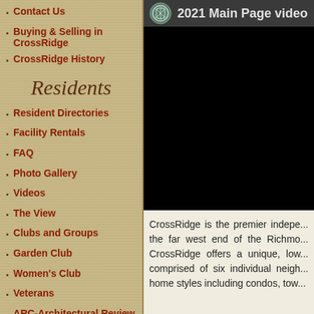Contact Us
Buying & Selling in CrossRidge
CrossRidge History
Residents
Resident Directories
Facility Rentals
FAQ
Photo Gallery
Videos
The View
Clubs and Groups
Garden Club
Women's Club
Veterans
ARC-Architectural Review Committee
CRHOA BOD Minutes
Committee Meeting Minutes
Financials
HOA Documents
[Figure (screenshot): Video thumbnail showing logo and title '2021 Main Page video' with black video area]
CrossRidge is the premier indepe... the far west end of the Richmo... CrossRidge offers a unique, low... comprised of six individual neigh... home styles including condos, tow...